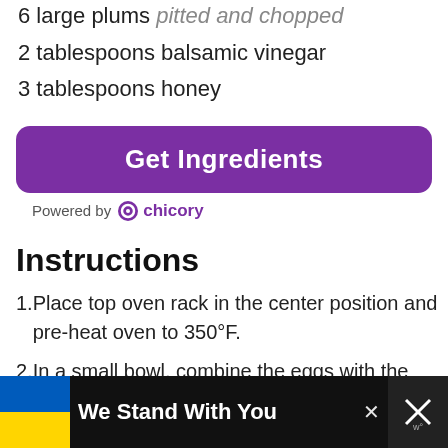6 large plums pitted and chopped
2 tablespoons balsamic vinegar
3 tablespoons honey
[Figure (other): Get Ingredients button powered by chicory]
Instructions
1. Place top oven rack in the center position and pre-heat oven to 350°F.
2. In a small bowl, combine the eggs with the Dijon mustard. Season with salt and black pepper, as desired, and whisk to combine. Set aside.
[Figure (infographic): Advertisement banner: We Stand With You with Ukrainian flag colors]